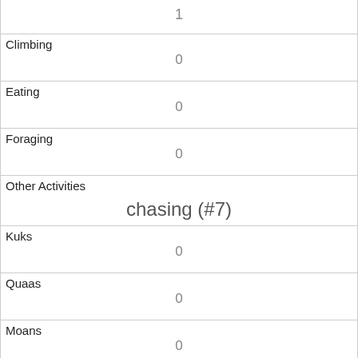| (value row) | 1 |
| Climbing | 0 |
| Eating | 0 |
| Foraging | 0 |
| Other Activities | chasing (#7) |
| Kuks | 0 |
| Quaas | 0 |
| Moans | 0 |
| Tail flags | 0 |
| Tail twitches | 1 |
| Approaches | 0 |